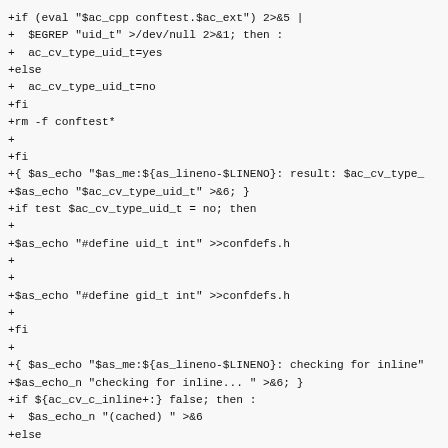+if (eval "$ac_cpp conftest.$ac_ext") 2>&5 |
+  $EGREP "uid_t" >/dev/null 2>&1; then :
+  ac_cv_type_uid_t=yes
+else
+  ac_cv_type_uid_t=no
+fi
+rm -f conftest*
+
+fi
+{ $as_echo "$as_me:${as_lineno-$LINENO}: result: $ac_cv_type_
+$as_echo "$ac_cv_type_uid_t" >&6; }
+if test $ac_cv_type_uid_t = no; then
+
+$as_echo "#define uid_t int" >>confdefs.h
+
+
+$as_echo "#define gid_t int" >>confdefs.h
+
+fi
+
+{ $as_echo "$as_me:${as_lineno-$LINENO}: checking for inline"
+$as_echo_n "checking for inline... " >&6; }
+if ${ac_cv_c_inline+:} false; then :
+  $as_echo_n "(cached) " >&6
+else